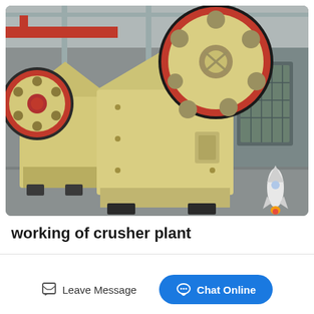[Figure (photo): Two large jaw crusher machines (cream/beige colored with red-rimmed flywheels) on a factory floor inside an industrial warehouse. The machines have large circular flywheels with holes, mounted on heavy steel frames. Red overhead crane visible in background.]
working of crusher plant
Leave Message
Chat Online